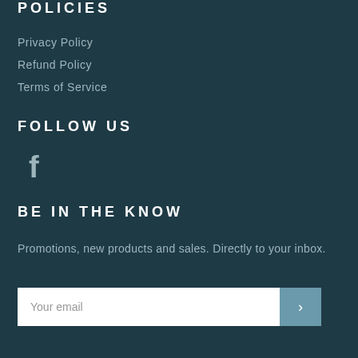POLICIES
Privacy Policy
Refund Policy
Terms of Service
FOLLOW US
[Figure (logo): Facebook logo icon (f)]
BE IN THE KNOW
Promotions, new products and sales. Directly to your inbox.
Your email [input field with submit arrow button]